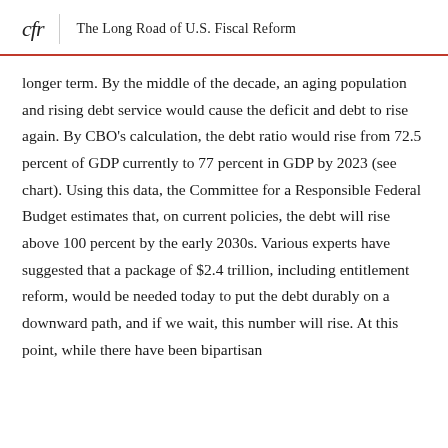cfr | The Long Road of U.S. Fiscal Reform
longer term. By the middle of the decade, an aging population and rising debt service would cause the deficit and debt to rise again. By CBO’s calculation, the debt ratio would rise from 72.5 percent of GDP currently to 77 percent in GDP by 2023 (see chart). Using this data, the Committee for a Responsible Federal Budget estimates that, on current policies, the debt will rise above 100 percent by the early 2030s. Various experts have suggested that a package of $2.4 trillion, including entitlement reform, would be needed today to put the debt durably on a downward path, and if we wait, this number will rise. At this point, while there have been bipartisan